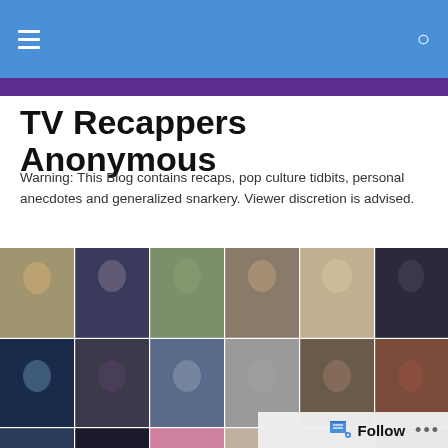TV Recappers Anonymous
TV Recappers Anonymous
Warning: This Blog contains recaps, pop culture tidbits, personal anecdotes and generalized snarkery. Viewer discretion is advised.
[Figure (photo): Collage of multiple photos of male TV actors arranged in a grid mosaic]
TAGGED WITH SUSIE PEPPER ON GLEE
Separating the Men (and the